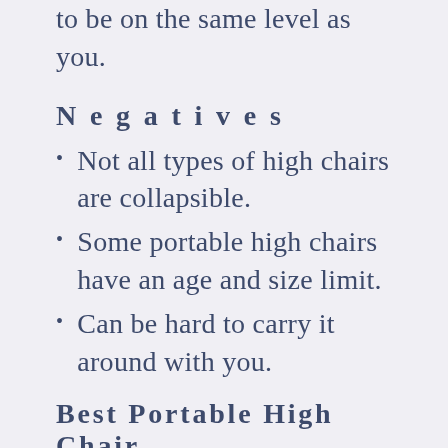to be on the same level as you.
Negatives
Not all types of high chairs are collapsible.
Some portable high chairs have an age and size limit.
Can be hard to carry it around with you.
Best Portable High Chair
When you’re willing to get a portable high chair for your baby, then you should consider your baby’s weight and the duration of